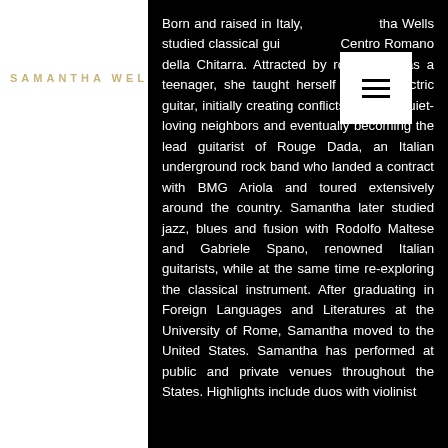SAMANTHA WELLS
Born and raised in Italy, Samantha Wells studied classical guitar at Centro Romano della Chitarra. Attracted by rock music as a teenager, she taught herself to play electric guitar, initially creating conflicts with her quiet-loving neighbors and eventually becoming the lead guitarist of Rouge Dada, an Italian underground rock band who landed a contract with BMG Ariola and toured extensively around the country. Samantha later studied jazz, blues and fusion with Rodolfo Maltese and Gabriele Spano, renowned Italian guitarists, while at the same time re-exploring the classical instrument. After graduating in Foreign Languages and Literatures at the University of Rome, Samantha moved to the United States. Samantha has performed at public and private venues throughout the States. Highlights include duos with violinist